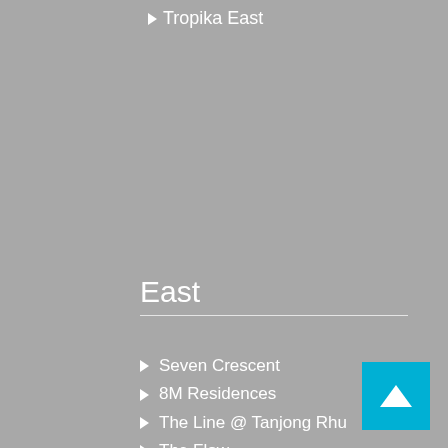Tropika East
East
Seven Crescent
8M Residences
The Line @ Tanjong Rhu
The Flow
The Cristallo
D'Nest
Coco Palms
T-Space